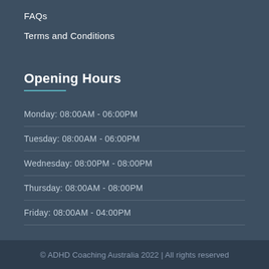FAQs
Terms and Conditions
Opening Hours
Monday: 08:00AM - 06:00PM
Tuesday: 08:00AM - 06:00PM
Wednesday: 08:00PM - 08:00PM
Thursday: 08:00AM - 08:00PM
Friday: 08:00AM - 04:00PM
© ADHD Coaching Australia 2022 | All rights reserved